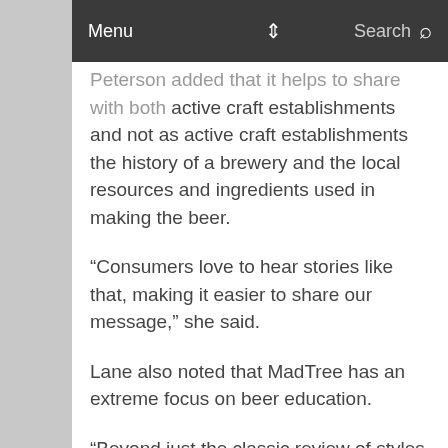Menu  Search
Peterson added that it helps to share with both active craft establishments and not as active craft establishments the history of a brewery and the local resources and ingredients used in making the beer.
“Consumers love to hear stories like that, making it easier to share our message,” she said.
Lane also noted that MadTree has an extreme focus on beer education.
“Beyond just the classic review of styles and flavor components of our beers as many focus on, we offer our partners a truly deep dive into the production, testing, quality control and proper handling of craft beer,” he said. “Our philosophy is that the smarter the consumer and our partners are about beer and the better they